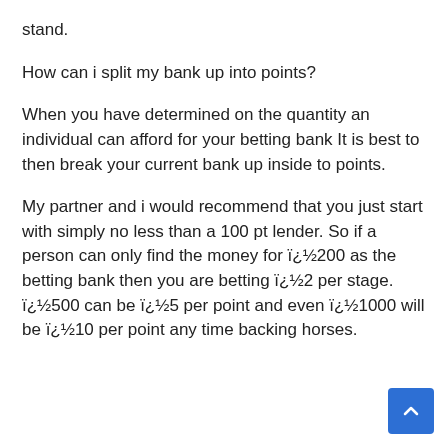stand.
How can i split my bank up into points?
When you have determined on the quantity an individual can afford for your betting bank It is best to then break your current bank up inside to points.
My partner and i would recommend that you just start with simply no less than a 100 pt lender. So if a person can only find the money for ï¿½200 as the betting bank then you are betting ï¿½2 per stage. ï¿½500 can be ï¿½5 per point and even ï¿½1000 will be ï¿½10 per point any time backing horses.